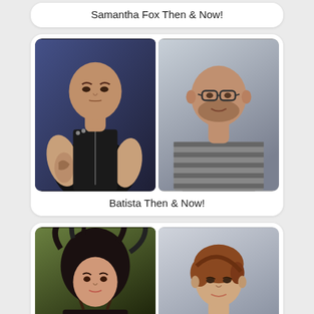Samantha Fox Then & Now!
[Figure (photo): Two side-by-side photos of Batista: left shows him younger in wrestling attire (black leather vest, tattooed), right shows him older with glasses and striped shirt]
Batista Then & Now!
[Figure (photo): Two side-by-side photos: left shows a woman with wild dark hair in character costume, right shows same woman older with short styled auburn hair in professional attire]